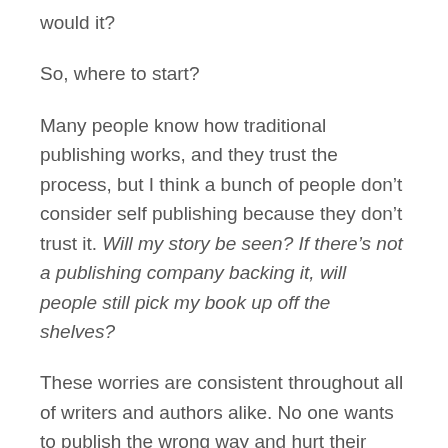would it?
So, where to start?
Many people know how traditional publishing works, and they trust the process, but I think a bunch of people don’t consider self publishing because they don’t trust it. Will my story be seen? If there’s not a publishing company backing it, will people still pick my book up off the shelves?
These worries are consistent throughout all of writers and authors alike. No one wants to publish the wrong way and hurt their book’s chances of being seen. And that’s why I’ve brought to light the pros and cons of both self-